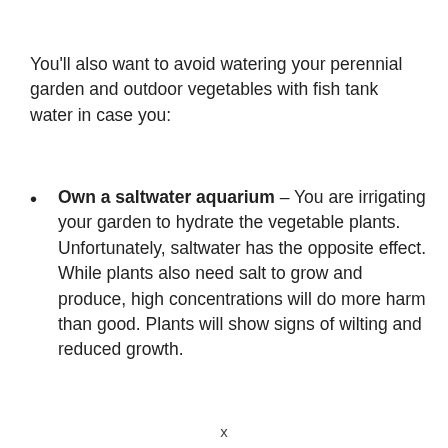You'll also want to avoid watering your perennial garden and outdoor vegetables with fish tank water in case you:
Own a saltwater aquarium – You are irrigating your garden to hydrate the vegetable plants. Unfortunately, saltwater has the opposite effect. While plants also need salt to grow and produce, high concentrations will do more harm than good. Plants will show signs of wilting and reduced growth.
x